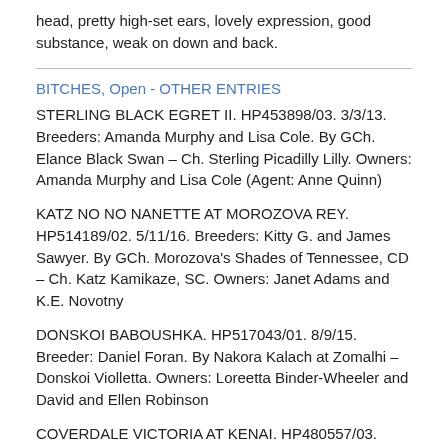head, pretty high-set ears, lovely expression, good substance, weak on down and back.
BITCHES, Open - OTHER ENTRIES
STERLING BLACK EGRET II. HP453898/03. 3/3/13. Breeders: Amanda Murphy and Lisa Cole. By GCh. Elance Black Swan – Ch. Sterling Picadilly Lilly. Owners: Amanda Murphy and Lisa Cole (Agent: Anne Quinn)
KATZ NO NO NANETTE AT MOROZOVA REY. HP514189/02. 5/11/16. Breeders: Kitty G. and James Sawyer. By GCh. Morozova's Shades of Tennessee, CD – Ch. Katz Kamikaze, SC. Owners: Janet Adams and K.E. Novotny
DONSKOI BABOUSHKA. HP517043/01. 8/9/15. Breeder: Daniel Foran. By Nakora Kalach at Zomalhi – Donskoi Violletta. Owners: Loreetta Binder-Wheeler and David and Ellen Robinson
COVERDALE VICTORIA AT KENAI. HP480557/03. 5/12/14. Breeder: Kaisa Talvenheimo. By Datcha Ravotz